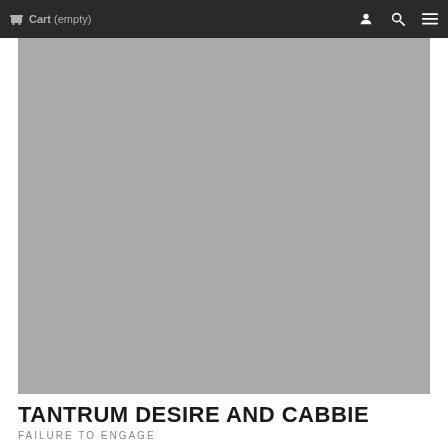Cart (empty)
[Figure (photo): Large grey placeholder product image]
TANTRUM DESIRE AND CABBIE
FAILURE TO ENGAGE